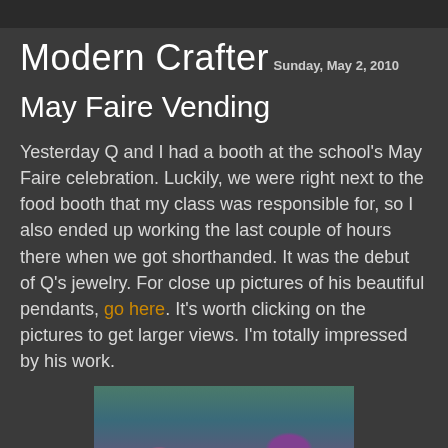Modern Crafter
Sunday, May 2, 2010
May Faire Vending
Yesterday Q and I had a booth at the school's May Faire celebration. Luckily, we were right next to the food booth that my class was responsible for, so I also ended up working the last couple of hours there when we got shorthanded. It was the debut of Q's jewelry. For close up pictures of his beautiful pendants, go here. It's worth clicking on the pictures to get larger views. I'm totally impressed by his work.
[Figure (photo): Photo of knitted hats and accessories displayed on a table at the May Faire booth, including colorful beanies and knit items in blue, purple, and gray tones]